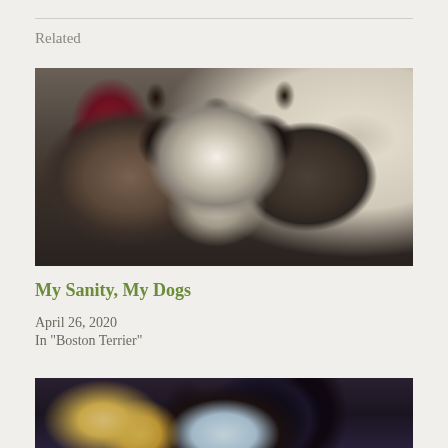Related
[Figure (photo): Close-up photo of a Boston Terrier dog with black and white markings, large brown eyes, and pointed ears, sitting on a brown couch with a red pillow visible in the background]
My Sanity, My Dogs
April 26, 2020
In "Boston Terrier"
[Figure (photo): Partial photo showing a wooden surface and dark reflective object, likely another pet-related image, cropped at bottom of page]